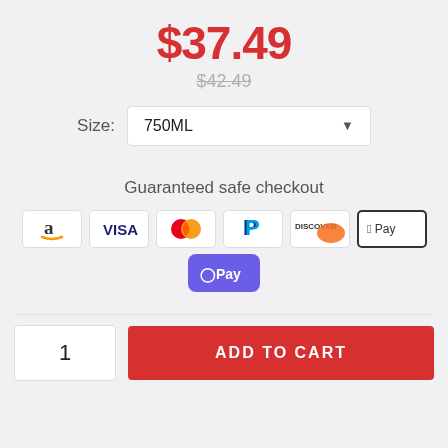$37.49
$42.49
Size: 750ML
Guaranteed safe checkout
[Figure (infographic): Payment method icons: Amazon, VISA, Mastercard, PayPal, Discover, Apple Pay, OPay]
1
ADD TO CART